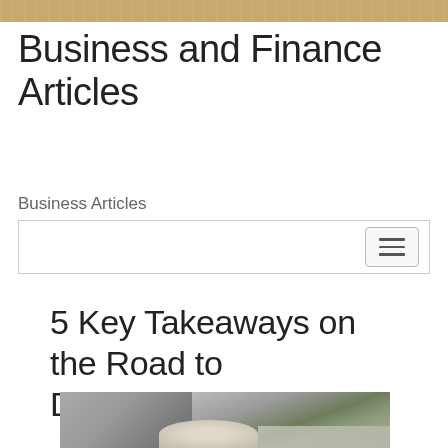Business and Finance Articles
Business Articles
5 Key Takeaways on the Road to Dominating
[Figure (photo): Flat-lay photo showing gray fabric, white flowers, lace, and a candle]